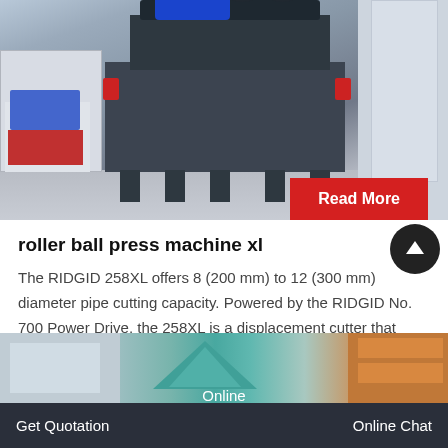[Figure (photo): Industrial roller ball press machine XL in a factory setting, large dark gray metal frame with blue motor on top, red accent handles, other machinery visible in background]
roller ball press machine xl
The RIDGID 258XL offers 8 (200 mm) to 12 (300 mm) diameter pipe cutting capacity. Powered by the RIDGID No. 700 Power Drive, the 258XL is a displacement cutter that
[Figure (photo): Partial view of factory floor with industrial equipment, including a teal/green machine canopy shape visible]
Get Quotation   Online   Online Chat